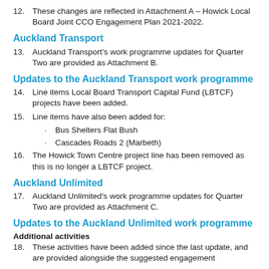12. These changes are reflected in Attachment A – Howick Local Board Joint CCO Engagement Plan 2021-2022.
Auckland Transport
13. Auckland Transport's work programme updates for Quarter Two are provided as Attachment B.
Updates to the Auckland Transport work programme
14. Line items Local Board Transport Capital Fund (LBTCF) projects have been added.
15. Line items have also been added for:
· Bus Shelters Flat Bush
· Cascades Roads 2 (Marbeth)
16. The Howick Town Centre project line has been removed as this is no longer a LBTCF project.
Auckland Unlimited
17. Auckland Unlimited's work programme updates for Quarter Two are provided as Attachment C.
Updates to the Auckland Unlimited work programme
Additional activities
18. These activities have been added since the last update, and are provided alongside the suggested engagement